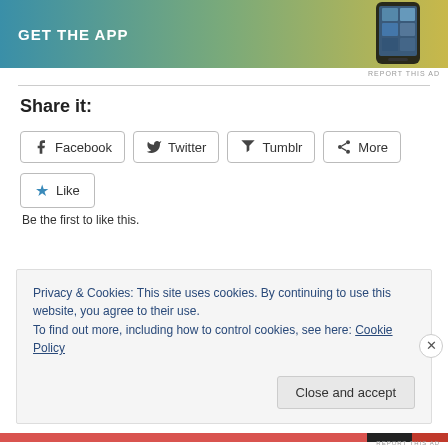[Figure (screenshot): App advertisement banner with GET THE APP text and phone graphic on gradient background]
REPORT THIS AD
Share it:
Facebook  Twitter  Tumblr  More
Like
Be the first to like this.
Privacy & Cookies: This site uses cookies. By continuing to use this website, you agree to their use.
To find out more, including how to control cookies, see here: Cookie Policy
Close and accept